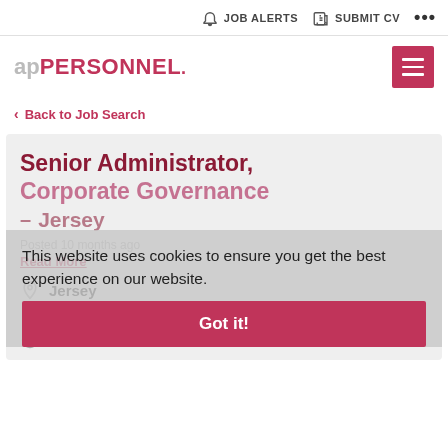JOB ALERTS   SUBMIT CV   ...
[Figure (logo): apPERSONNEL logo with hamburger menu button]
Back to Job Search
Senior Administrator, Corporate Governance – Jersey
Posted 10 months ago
Read More
This website uses cookies to ensure you get the best experience on our website.
Got it!
Jersey
Negotiable per year
Permanent